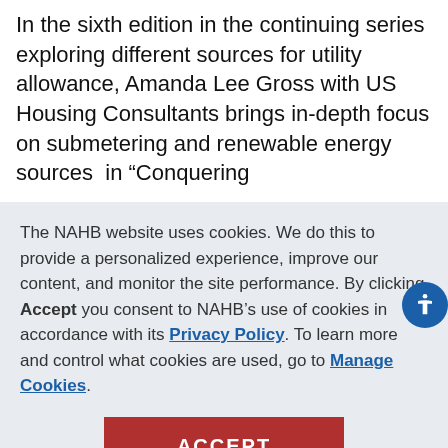In the sixth edition in the continuing series exploring different sources for utility allowance, Amanda Lee Gross with US Housing Consultants brings in-depth focus on submetering and renewable energy sources in “Conquering
The NAHB website uses cookies. We do this to provide a personalized experience, improve our content, and monitor the site performance. By clicking Accept you consent to NAHB’s use of cookies in accordance with its Privacy Policy. To learn more and control what cookies are used, go to Manage Cookies.
ACCEPT